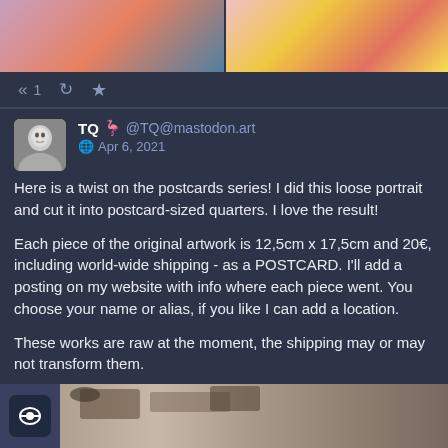[Figure (photo): Two artwork images side by side — left shows abstract floral painting with pink/orange/blue tones, right shows pink/yellow/red floral artwork]
« 1  ↺  ★
TQ 🦩 @TQ@mastodon.art  🌐 Apr 6, 2021

Here is a twist on the postcards series! I did this loose portrait and cut it into postcard-sized quarters. I love the result!

Each piece of the original artwork is 12,5cm x 17,5cm and 20€, including world-wide shipping - as a POSTCARD. I'll add a posting on my website with info where each piece went. You choose your name or alias, if you like I can add a location.

These works are raw at the moment, the shipping may or may not transform them.

#mastoArt #traditionalArt #art
[Figure (photo): Bottom cropped portrait artwork showing a face with detailed eyes and hair rendering]